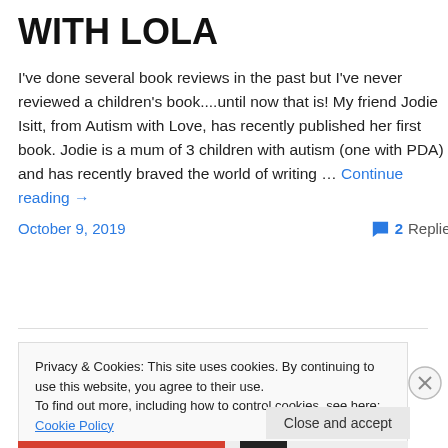WITH LOLA
I've done several book reviews in the past but I've never reviewed a children's book....until now that is! My friend Jodie Isitt, from Autism with Love, has recently published her first book. Jodie is a mum of 3 children with autism (one with PDA) and has recently braved the world of writing … Continue reading →
October 9, 2019   2 Replies
Privacy & Cookies: This site uses cookies. By continuing to use this website, you agree to their use. To find out more, including how to control cookies, see here: Cookie Policy